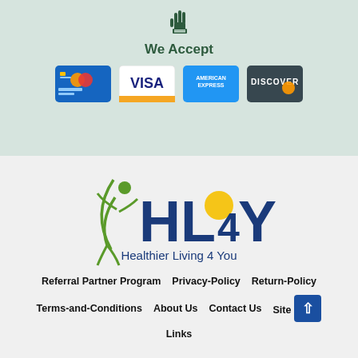[Figure (illustration): Hand icon above 'We Accept' text]
We Accept
[Figure (illustration): Payment method logos: Mastercard, Visa, American Express, Discover]
[Figure (logo): HL4Y – Healthier Living 4 You logo with green figure and yellow sun]
Referral Partner Program   Privacy-Policy   Return-Policy
Terms-and-Conditions   About Us   Contact Us   Sitemap Links